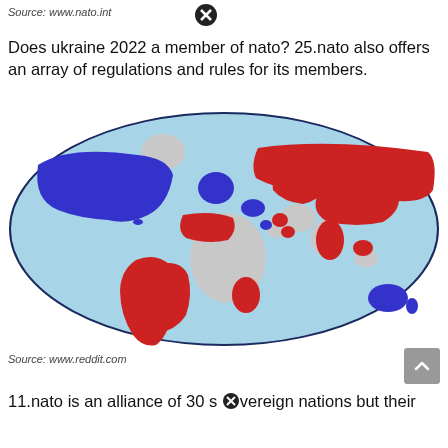Source: www.nato.int
Does ukraine 2022 a member of nato? 25.nato also offers an array of regulations and rules for its members.
[Figure (map): World map showing NATO member countries (blue) and other countries (red and gray) on a light blue background with dark blue border ellipse.]
Source: www.reddit.com
11.nato is an alliance of 30 sovereign nations but their individual members also follow their own rules and laws.